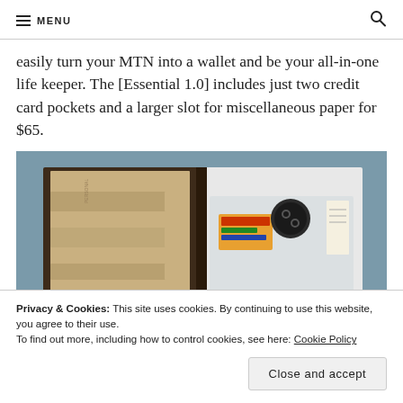MENU
easily turn your MTN into a wallet and be your all-in-one life keeper. The [Essential 1.0] includes just two credit card pockets and a larger slot for miscellaneous paper for $65.
[Figure (photo): A traveler's notebook open on a blue fabric surface, showing kraft paper dividers with tabs on the left side and a clear plastic pocket on the right containing various items like cards and a small woven bag.]
Privacy & Cookies: This site uses cookies. By continuing to use this website, you agree to their use.
To find out more, including how to control cookies, see here: Cookie Policy
Close and accept